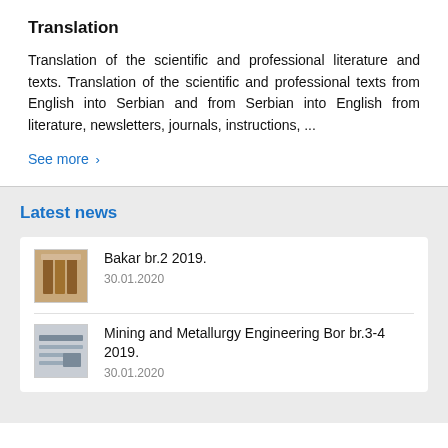Translation
Translation of the scientific and professional literature and texts. Translation of the scientific and professional texts from English into Serbian and from Serbian into English from literature, newsletters, journals, instructions, ...
See more >
Latest news
Bakar br.2 2019.
30.01.2020
Mining and Metallurgy Engineering Bor br.3-4 2019.
30.01.2020